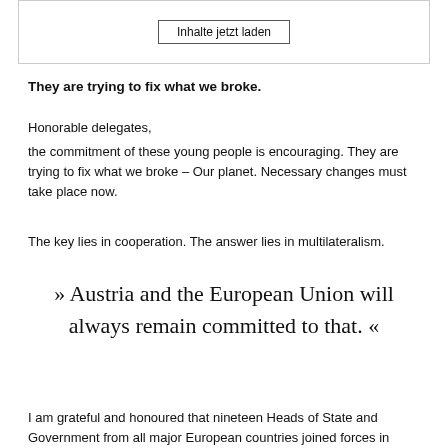[Figure (other): A box with a button labeled 'Inhalte jetzt laden']
They are trying to fix what we broke.
Honorable delegates,
the commitment of these young people is encouraging. They are trying to fix what we broke – Our planet. Necessary changes must take place now.
The key lies in cooperation. The answer lies in multilateralism.
» Austria and the European Union will always remain committed to that. «
I am grateful and honoured that nineteen Heads of State and Government from all major European countries joined forces in